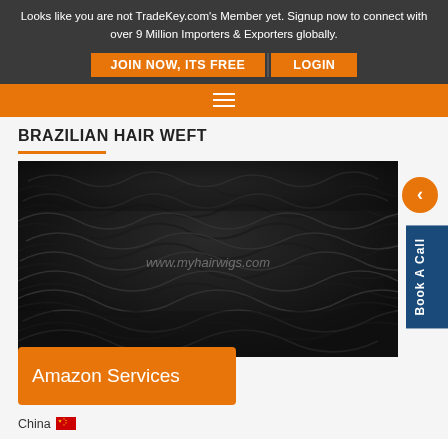Looks like you are not TradeKey.com's Member yet. Signup now to connect with over 9 Million Importers & Exporters globally.
JOIN NOW, ITS FREE | LOGIN
BRAZILIAN HAIR WEFT
[Figure (photo): Close-up photo of dark curly Brazilian hair weft with watermark www.myhairwigs.com]
Amazon Services
China